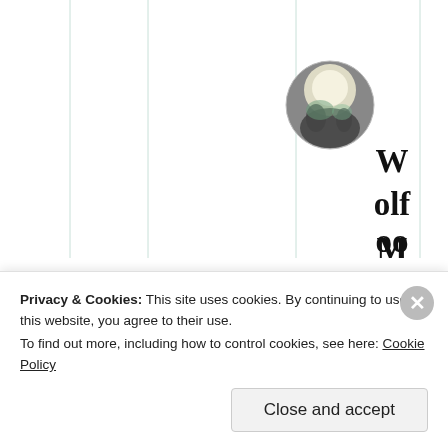[Figure (illustration): Screenshot of a blog/website interface showing vertical column lines on the left side, a circular avatar photo of a wolf/moon scene, and large bold stacked text reading 'Wolf Moon' with a date below (08/04/2021 @17...)]
Privacy & Cookies: This site uses cookies. By continuing to use this website, you agree to their use.
To find out more, including how to control cookies, see here: Cookie Policy
Close and accept